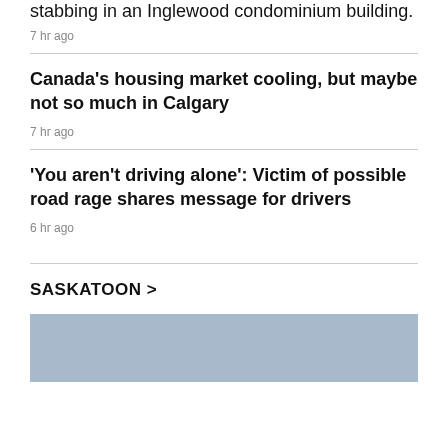stabbing in an Inglewood condominium building.
7 hr ago
Canada's housing market cooling, but maybe not so much in Calgary
7 hr ago
'You aren't driving alone': Victim of possible road rage shares message for drivers
6 hr ago
SASKATOON >
[Figure (photo): Blue-toned image placeholder at bottom of page]